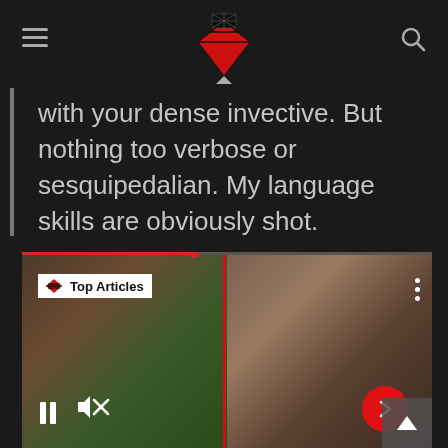Top Articles
with your dense invective. But nothing too verbose or sesquipedalian. My language skills are obviously shot.
[Figure (screenshot): Video player showing two wrestlers in a split-screen interview. Left side shows a man with long hair wearing a green/purple outfit. Right side shows a bearded man in a patterned jacket. Video controls visible including pause and mute buttons, a red forward arrow button, and a Top Articles badge overlay. Progress bar shown at top of video.]